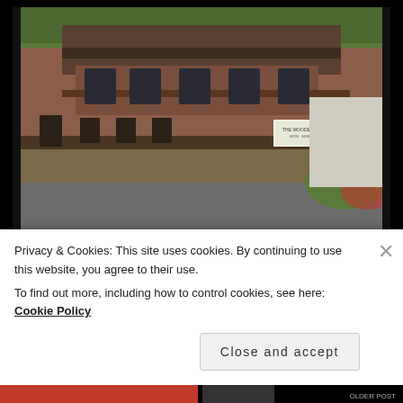[Figure (photo): Photograph of an old brick train station building with ornate wooden trim, a covered platform, and surrounding trees and vegetation. A sign reading 'THE WOODEN STATION' is visible on the side of the building.]
Those Old Train Stations: the Central Railroad of New Jersey Train Station in Bethlehem, Pennsylvania
Privacy & Cookies: This site uses cookies. By continuing to use this website, you agree to their use.
To find out more, including how to control cookies, see here: Cookie Policy